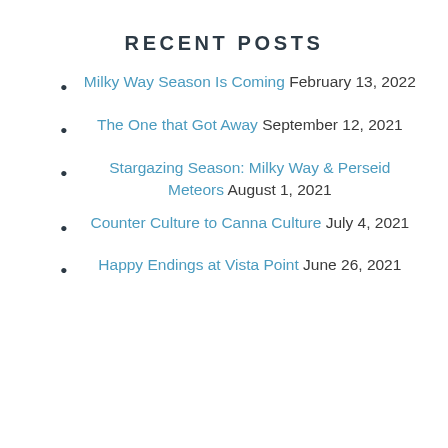RECENT POSTS
Milky Way Season Is Coming February 13, 2022
The One that Got Away September 12, 2021
Stargazing Season: Milky Way & Perseid Meteors August 1, 2021
Counter Culture to Canna Culture July 4, 2021
Happy Endings at Vista Point June 26, 2021